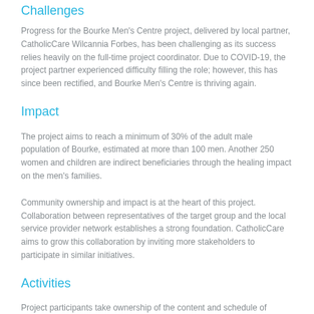Challenges
Progress for the Bourke Men’s Centre project, delivered by local partner, CatholicCare Wilcannia Forbes, has been challenging as its success relies heavily on the full-time project coordinator. Due to COVID-19, the project partner experienced difficulty filling the role; however, this has since been rectified, and Bourke Men’s Centre is thriving again.
Impact
The project aims to reach a minimum of 30% of the adult male population of Bourke, estimated at more than 100 men. Another 250 women and children are indirect beneficiaries through the healing impact on the men’s families.
Community ownership and impact is at the heart of this project. Collaboration between representatives of the target group and the local service provider network establishes a strong foundation. CatholicCare aims to grow this collaboration by inviting more stakeholders to participate in similar initiatives.
Activities
Project participants take ownership of the content and schedule of activities, which includes: